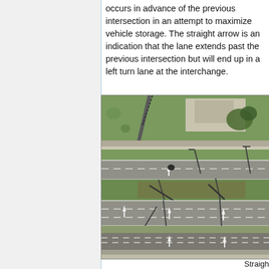occurs in advance of the previous intersection in an attempt to maximize vehicle storage. The straight arrow is an indication that the lane extends past the previous intersection but will end up in a left turn lane at the interchange.
[Figure (photo): Aerial photograph of a highway interchange showing multiple lanes, road markings including straight and turn arrows, traffic signal poles, grassy medians, and surrounding structures viewed from above.]
Straigh